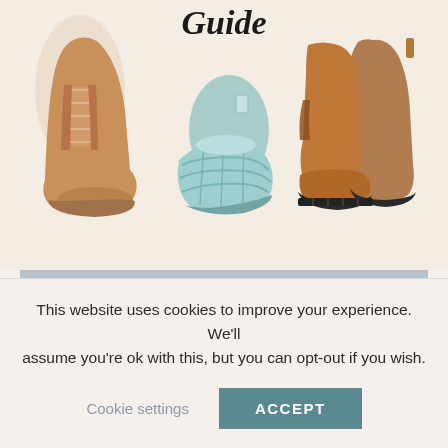[Figure (photo): Website screenshot showing boots guide with three boot/slipper product photos and website banner. Top section shows script title 'Guide', left boot (tan lace-up boot), center (mint/teal quilted slippers), right (brown Chelsea boots). Below is a gray banner with logo and 'thetravelingemptynester.com' text.]
MENU
This website uses cookies to improve your experience. We'll assume you're ok with this, but you can opt-out if you wish.
Cookie settings
ACCEPT